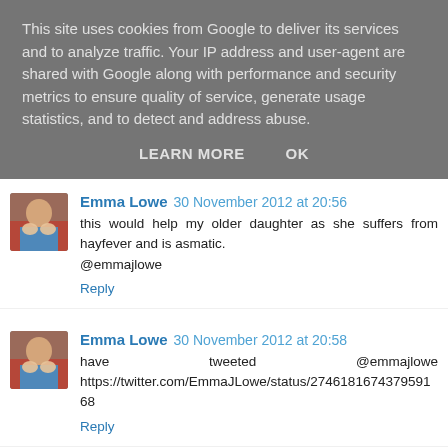This site uses cookies from Google to deliver its services and to analyze traffic. Your IP address and user-agent are shared with Google along with performance and security metrics to ensure quality of service, generate usage statistics, and to detect and address abuse.
LEARN MORE    OK
Emma Lowe 30 November 2012 at 20:56
this would help my older daughter as she suffers from hayfever and is asmatic.
@emmajlowe
Reply
Emma Lowe 30 November 2012 at 20:58
have tweeted @emmajlowe https://twitter.com/EmmaJLowe/status/27461816743795916 8
Reply